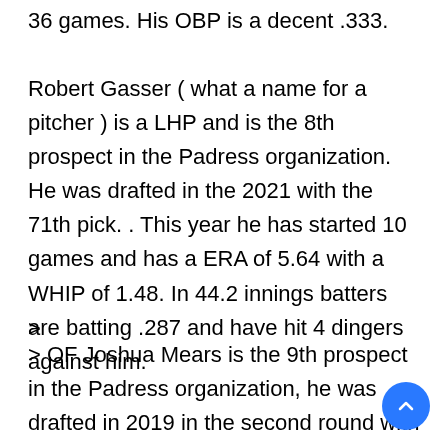36 games. His OBP is a decent .333.
Robert Gasser ( what a name for a pitcher ) is a LHP and is the 8th prospect in the Padress organization. He was drafted in the 2021 with the 71th pick. . This year he has started 10 games and has a ERA of 5.64 with a WHIP of 1.48. In 44.2 innings batters are batting .287 and have hit 4 dingers against him.
>
> OF Joshua Mears is the 9th prospect in the Padress organization, he was drafted in 2019 in the second round with the 48 pick. In 31 game has been struggling at the high A baseball. He is